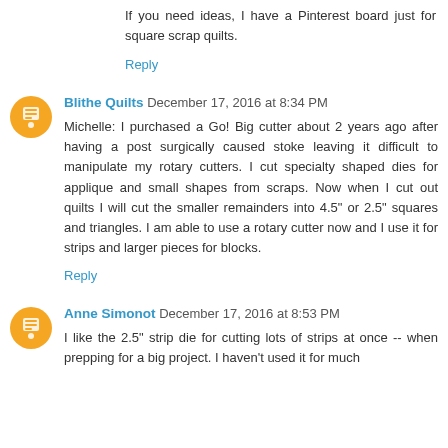If you need ideas, I have a Pinterest board just for square scrap quilts.
Reply
Blithe Quilts December 17, 2016 at 8:34 PM
Michelle: I purchased a Go! Big cutter about 2 years ago after having a post surgically caused stoke leaving it difficult to manipulate my rotary cutters. I cut specialty shaped dies for applique and small shapes from scraps. Now when I cut out quilts I will cut the smaller remainders into 4.5" or 2.5" squares and triangles. I am able to use a rotary cutter now and I use it for strips and larger pieces for blocks.
Reply
Anne Simonot December 17, 2016 at 8:53 PM
I like the 2.5" strip die for cutting lots of strips at once -- when prepping for a big project. I haven't used it for much